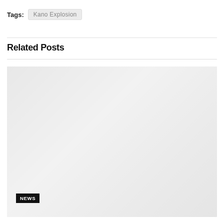Tags:  Kano Explosion
Related Posts
[Figure (photo): Large light gray placeholder image area for a related post, with a black 'NEWS' badge label in the lower left corner.]